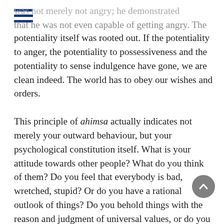was not merely not angry; he demonstrated that he was not even capable of getting angry. The potentiality itself was rooted out. If the potentiality to anger, the potentiality to possessiveness and the potentiality to sense indulgence have gone, we are clean indeed. The world has to obey our wishes and orders.

This principle of ahimsa actually indicates not merely your outward behaviour, but your psychological constitution itself. What is your attitude towards other people? What do you think of them? Do you feel that everybody is bad, wretched, stupid? Or do you have a rational outlook of things? Do you behold things with the reason and judgment of universal values, or do you have an inborn trait of condemning everything that you perceive? If this